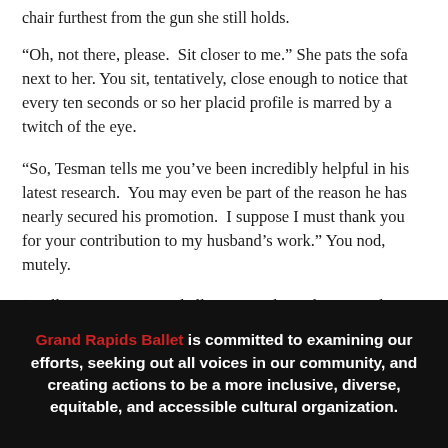chair furthest from the gun she still holds.
“Oh, not there, please.  Sit closer to me.” She pats the sofa next to her. You sit, tentatively, close enough to notice that every ten seconds or so her placid profile is marred by a twitch of the eye.
“So, Tesman tells me you’ve been incredibly helpful in his latest research.  You may even be part of the reason he has nearly secured his promotion.  I suppose I must thank you for your contribution to my husband’s work.” You nod, mutely.
“Well, I expect you used all your words on the research paper.” Hedda sighs disdainfully and rises to place the
Grand Rapids Ballet is committed to examining our efforts, seeking out all voices in our community, and creating actions to be a more inclusive, diverse, equitable, and accessible cultural organization.